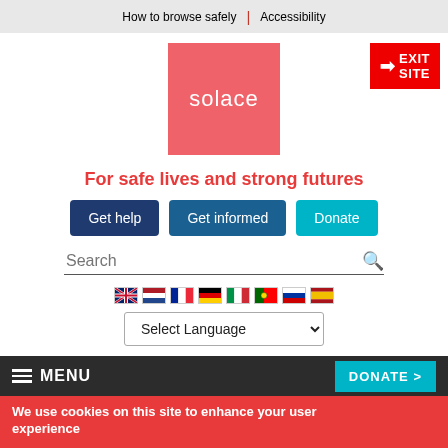How to browse safely | Accessibility
[Figure (logo): Solace logo — pink/salmon square with white lowercase text 'solace']
[Figure (other): Red EXIT SITE button with arrow icon, top right]
For safe lives and strong futures
Get help
Get informed
Donate
Search
[Figure (other): Row of 8 country flag emoji icons: UK, Netherlands, France, Germany, Italy, Portugal, Russia, Spain]
Select Language
MENU | DONATE >
We use cookies on this site to enhance your user experience